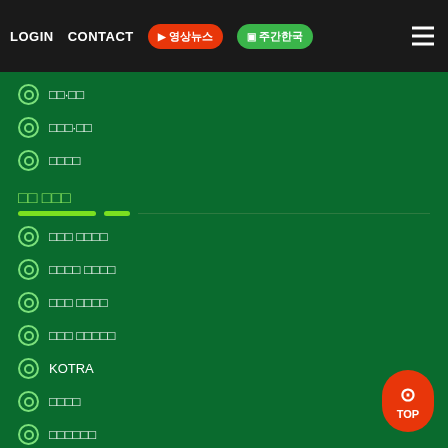LOGIN  CONTACT  영상뉴스  주간한국
⊙ □□·□□
⊙ □□□·□□
⊙ □□□□
□□ □□□
⊙ □□□ □□□□
⊙ □□□□ □□□□
⊙ □□□ □□□□
⊙ □□□ □□□□□
⊙ KOTRA
⊙ □□□□
⊙ □□□□□□